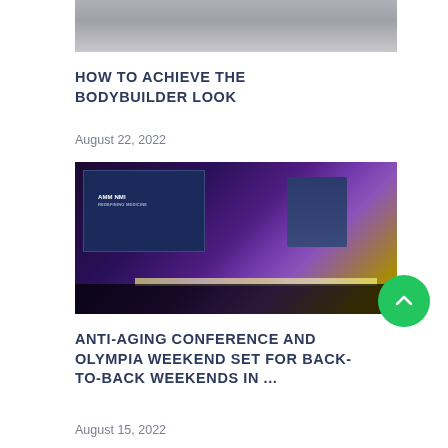[Figure (photo): Partial image of a person at top of page, cropped showing lower body]
HOW TO ACHIEVE THE BODYBUILDER LOOK
August 22, 2022
[Figure (photo): Conference stage with purple lighting, large screen showing a speaker, audience silhouettes in foreground, AMM NMI REDEFINING MEDICINE logo on screen]
ANTI-AGING CONFERENCE AND OLYMPIA WEEKEND SET FOR BACK-TO-BACK WEEKENDS IN ...
August 15, 2022